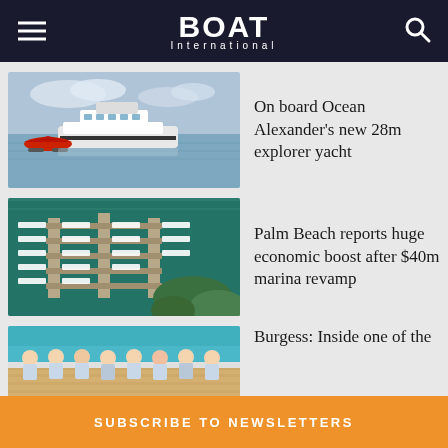BOAT International
[Figure (photo): A white motorized explorer yacht on calm water, with a red seaplane alongside it. Overcast sky in background.]
On board Ocean Alexander's new 28m explorer yacht
[Figure (photo): Aerial view of a marina with boats docked in rows at a pier, surrounded by teal water and greenery.]
Palm Beach reports huge economic boost after $40m marina revamp
[Figure (photo): Group of uniformed crew members on deck of a boat with turquoise water in background.]
Burgess: Inside one of the
SUBSCRIBE TO NEWSLETTERS